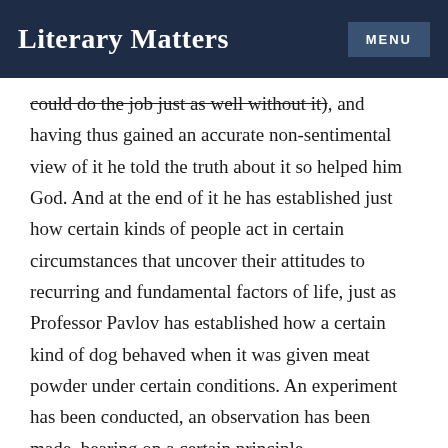Literary Matters
could do the job just as well without it), and having thus gained an accurate non-sentimental view of it he told the truth about it so helped him God. And at the end of it he has established just how certain kinds of people act in certain circumstances that uncover their attitudes to recurring and fundamental factors of life, just as Professor Pavlov has established how a certain kind of dog behaved when it was given meat powder under certain conditions. An experiment has been conducted, an observation has been made, bearing on a certain principle.
So Trollope in his unconscious way, as Rebecca West